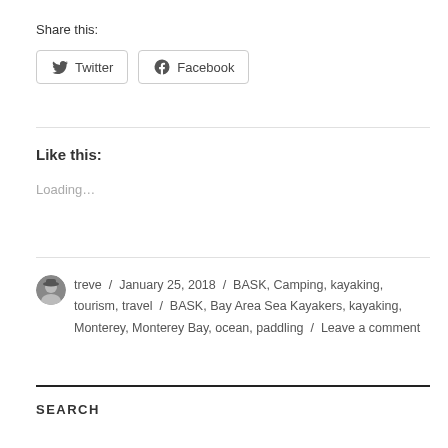Share this:
[Figure (other): Twitter and Facebook share buttons]
Like this:
Loading…
treve / January 25, 2018 / BASK, Camping, kayaking, tourism, travel / BASK, Bay Area Sea Kayakers, kayaking, Monterey, Monterey Bay, ocean, paddling / Leave a comment
SEARCH